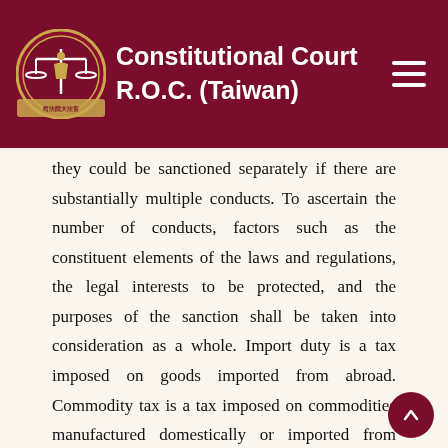Constitutional Court R.O.C. (Taiwan)
they could be sanctioned separately if there are substantially multiple conducts. To ascertain the number of conducts, factors such as the constituent elements of the laws and regulations, the legal interests to be protected, and the purposes of the sanction shall be taken into consideration as a whole. Import duty is a tax imposed on goods imported from abroad. Commodity tax is a tax imposed on commodities manufactured domestically or imported from abroad